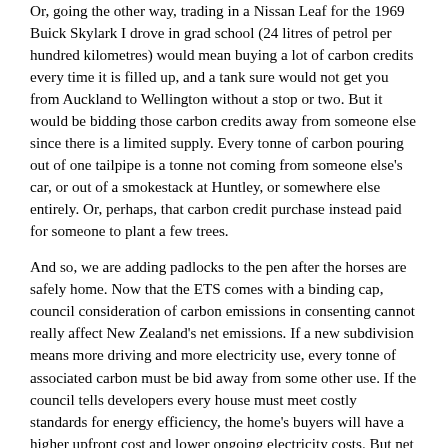Or, going the other way, trading in a Nissan Leaf for the 1969 Buick Skylark I drove in grad school (24 litres of petrol per hundred kilometres) would mean buying a lot of carbon credits every time it is filled up, and a tank sure would not get you from Auckland to Wellington without a stop or two. But it would be bidding those carbon credits away from someone else since there is a limited supply. Every tonne of carbon pouring out of one tailpipe is a tonne not coming from someone else's car, or out of a smokestack at Huntley, or somewhere else entirely. Or, perhaps, that carbon credit purchase instead paid for someone to plant a few trees.
And so, we are adding padlocks to the pen after the horses are safely home. Now that the ETS comes with a binding cap, council consideration of carbon emissions in consenting cannot really affect New Zealand's net emissions. If a new subdivision means more driving and more electricity use, every tonne of associated carbon must be bid away from some other use. If the council tells developers every house must meet costly standards for energy efficiency, the home's buyers will have a higher upfront cost and lower ongoing electricity costs. But net emissions will not change. The household's